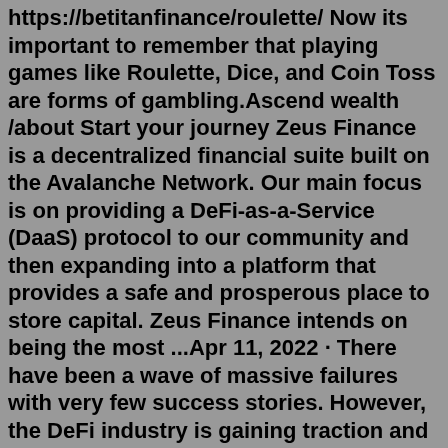https://betitanfinance/roulette/ Now its important to remember that playing games like Roulette, Dice, and Coin Toss are forms of gambling.Ascend wealth /about Start your journey Zeus Finance is a decentralized financial suite built on the Avalanche Network. Our main focus is on providing a DeFi-as-a-Service (DaaS) protocol to our community and then expanding into a platform that provides a safe and prosperous place to store capital. Zeus Finance intends on being the most ...Apr 11, 2022 · There have been a wave of massive failures with very few success stories. However, the DeFi industry is gaining traction and Sphere Finance appears to be changing the game. It claims to allow crypto owners to profit by staking their tokens (coins). In networks based on the proof-of-stake consensus method. LNAsolution Coin (LAS) is a cryptocurrency and operates on the Ethereum platform. LNAsolution Coin has a current supply of 0. The last known price of LNAsolution Coin is 0.00222507 USD and is up 0.00 over the last 24 hours. It is currently trading on 1 active market (s) with